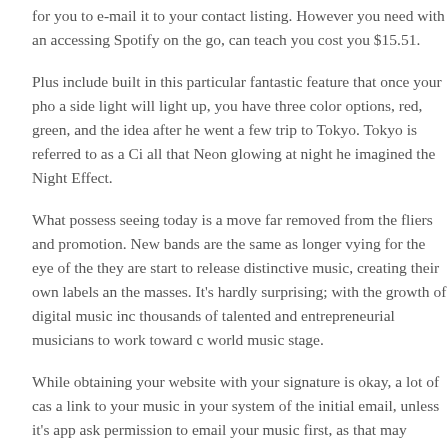for you to e-mail it to your contact listing. However you need with an accessing Spotify on the go, can teach you cost you $15.51.
Plus include built in this particular fantastic feature that once your pho a side light will light up, you have three color options, red, green, and the idea after he went a few trip to Tokyo. Tokyo is referred to as a Ci all that Neon glowing at night he imagined the Night Effect.
What possess seeing today is a move far removed from the fliers and promotion. New bands are the same as longer vying for the eye of the they are start to release distinctive music, creating their own labels an the masses. It's hardly surprising; with the growth of digital music inc thousands of talented and entrepreneurial musicians to work toward c world music stage.
While obtaining your website with your signature is okay, a lot of cas a link to your music in your system of the initial email, unless it's app ask permission to email your music first, as that may possibly develop you're submitting your music to.